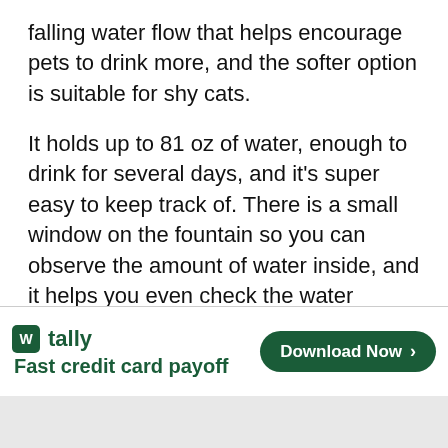falling water flow that helps encourage pets to drink more, and the softer option is suitable for shy cats.
It holds up to 81 oz of water, enough to drink for several days, and it's super easy to keep track of. There is a small window on the fountain so you can observe the amount of water inside, and it helps you even check the water degree thanks to the blue LED light.
The pump is a good value for budget. It is extremely have no noisy when working and
[Figure (other): Advertisement banner for Tally app - Fast credit card payoff. Shows Tally logo (green square with W), brand name 'tally', tagline 'Fast credit card payoff', and a green 'Download Now' button with arrow. Has close/question mark icons in top right.]